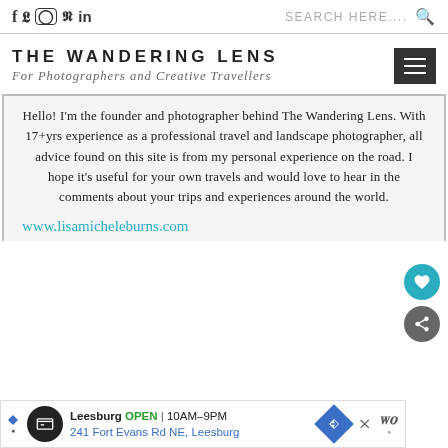Social icons: f, Twitter, Instagram, Pinterest, in | SEARCH HERE....
[Figure (logo): The Wandering Lens logo with tagline 'For Photographers and Creative Travellers' and hamburger menu icon]
Hello! I'm the founder and photographer behind The Wandering Lens. With 17+yrs experience as a professional travel and landscape photographer, all advice found on this site is from my personal experience on the road. I hope it's useful for your own travels and would love to hear in the comments about your trips and experiences around the world.
www.lisamicheleburns.com
[Figure (screenshot): Ad bar: Leesburg OPEN 10AM-9PM, 241 Fort Evans Rd NE, Leesburg with diamond arrow icon and close button]